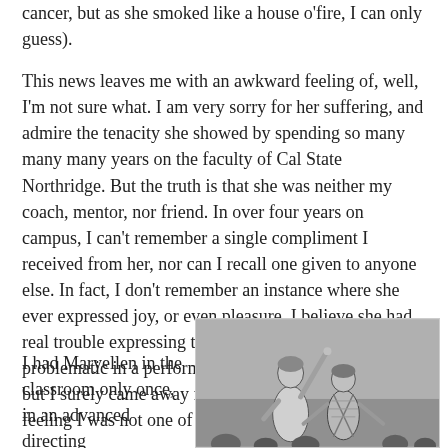cancer, but as she smoked like a house o'fire, I can only guess).
This news leaves me with an awkward feeling of, well, I'm not sure what. I am very sorry for her suffering, and admire the tenacity she showed by spending so many many many years on the faculty of Cal State Northridge. But the truth is that she was neither my coach, mentor, nor friend. In over four years on campus, I can't remember a single compliment I received from her, nor can I recall one given to anyone else. In fact, I don't remember an instance where she ever expressed joy, or even pleasure. I believe she had real trouble expressing true emotions (which seems problematic in a performing arts teacher and director), but I surely came away from any encounter with her feeling I was not one of her favorites.
I had Maryellen in the classroom only once, in an advanced directing
[Figure (photo): Black and white photograph showing two people on stage, one pointing upward with arm raised, the other standing beside them.]